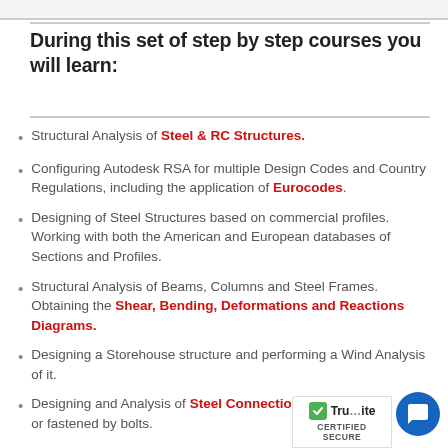During this set of step by step courses you will learn:
Structural Analysis of Steel & RC Structures.
Configuring Autodesk RSA for multiple Design Codes and Country Regulations, including the application of Eurocodes.
Designing of Steel Structures based on commercial profiles. Working with both the American and European databases of Sections and Profiles.
Structural Analysis of Beams, Columns and Steel Frames. Obtaining the Shear, Bending, Deformations and Reactions Diagrams.
Designing a Storehouse structure and performing a Wind Analysis of it.
Designing and Analysis of Steel Connections, either welded or fastened by bolts.
Automatic Generation of Detail Drawings